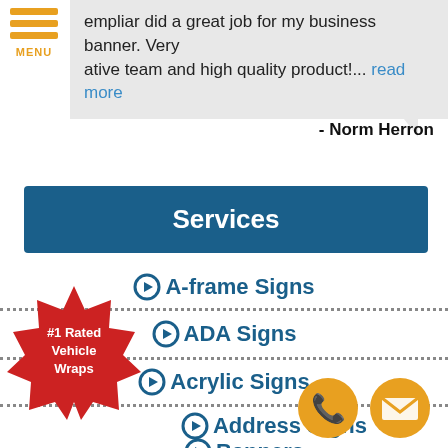empliar did a great job for my business banner. Very ative team and high quality product!... read more
- Norm Herron
Services
A-frame Signs
ADA Signs
Acrylic Signs
Address Signs
Banners
Bar Signs
[Figure (infographic): Red starburst badge with text '#1 Rated Vehicle Wraps']
[Figure (infographic): Golden phone icon circle button]
[Figure (infographic): Golden email/envelope icon circle button]